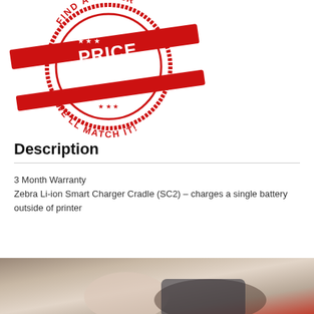[Figure (illustration): Red circular price match stamp/badge reading 'FIND A LOWER PRICE MATCH WE'LL MATCH IT!' with stars and diagonal banner]
Description
3 Month Warranty
Zebra Li-ion Smart Charger Cradle (SC2) – charges a single battery outside of printer
[Figure (photo): Blurred photograph of a person using a handheld device, partial view from bottom of page]